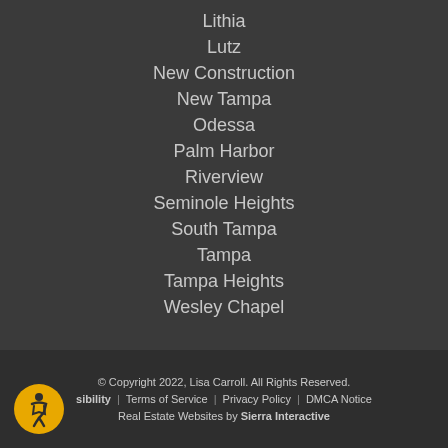Lithia
Lutz
New Construction
New Tampa
Odessa
Palm Harbor
Riverview
Seminole Heights
South Tampa
Tampa
Tampa Heights
Wesley Chapel
© Copyright 2022, Lisa Carroll. All Rights Reserved. Accessibility | Terms of Service | Privacy Policy | DMCA Notice Real Estate Websites by Sierra Interactive